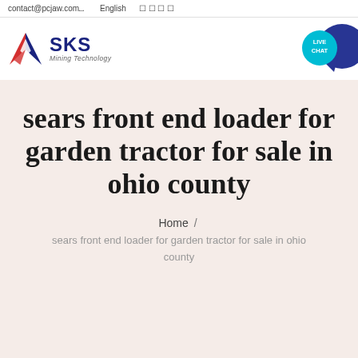contact@pcjaw.com   English
[Figure (logo): SKS Mining Technology logo with red and blue diamond/arrow icon and text 'SKS Mining Technology']
[Figure (infographic): Live Chat button: teal circle with LIVE CHAT text and dark blue speech bubble icon]
sears front end loader for garden tractor for sale in ohio county
Home / sears front end loader for garden tractor for sale in ohio county